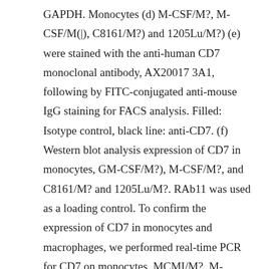GAPDH. Monocytes (d) M-CSF/M?, M-CSF/M(|), C8161/M?) and 1205Lu/M?) (e) were stained with the anti-human CD7 monoclonal antibody, AX20017 3A1, following by FITC-conjugated anti-mouse IgG staining for FACS analysis. Filled: Isotype control, black line: anti-CD7. (f) Western blot analysis expression of CD7 in monocytes, GM-CSF/M?), M-CSF/M?, and C8161/M? and 1205Lu/M?. RAb11 was used as a loading control. To confirm the expression of CD7 in monocytes and macrophages, we performed real-time PCR for CD7 on monocytes, MCMI/M?, M-CSF/M? and GM-CSF/M? (Hume and MacDonald, 2012). We found that mRNA levels for CD7 were expressed at a high level in monocytes, while expression of CD7 was expressed at a lower level in M-CSF/M? and in MCMI/M?. A much lower level of CD7 expression was detected in GM-CSF/M? (Figure 1a). Next